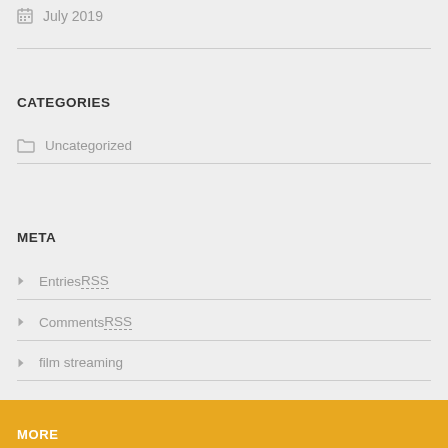July 2019
CATEGORIES
Uncategorized
META
Entries RSS
Comments RSS
film streaming
MORE